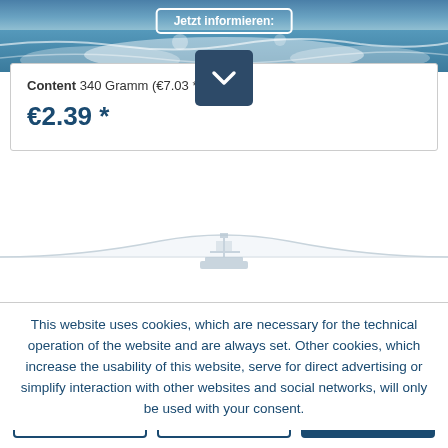[Figure (photo): Sailing/water sports action photo with splashing water, partial view at top of page]
Jetzt informieren:
Content 340 Gramm (€7.03 * / 100...
€2.39 *
[Figure (illustration): Decorative wave/ship silhouette graphic in light gray]
This website uses cookies, which are necessary for the technical operation of the website and are always set. Other cookies, which increase the usability of this website, serve for direct advertising or simplify interaction with other websites and social networks, will only be used with your consent.
Decline
Accept all
Configure